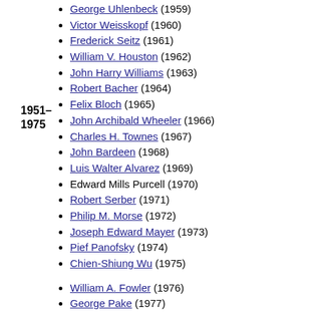George Uhlenbeck (1959)
Victor Weisskopf (1960)
Frederick Seitz (1961)
William V. Houston (1962)
1951–1975
John Harry Williams (1963)
Robert Bacher (1964)
Felix Bloch (1965)
John Archibald Wheeler (1966)
Charles H. Townes (1967)
John Bardeen (1968)
Luis Walter Alvarez (1969)
Edward Mills Purcell (1970)
Robert Serber (1971)
Philip M. Morse (1972)
Joseph Edward Mayer (1973)
Pief Panofsky (1974)
Chien-Shiung Wu (1975)
William A. Fowler (1976)
George Pake (1977)
Norman Foster Ramsey Jr. (1978)
Lewis M. Branscomb (1979)
Herman Feshbach (1980)
Arthur Leonard Schawlow (1981)
Maurice Goldhaber (1982)